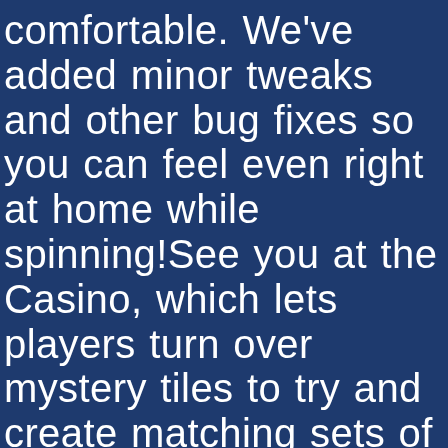comfortable. We've added minor tweaks and other bug fixes so you can feel even right at home while spinning!See you at the Casino, which lets players turn over mystery tiles to try and create matching sets of animals for big bonuses. Free only bingo sites waitrose have said that, the